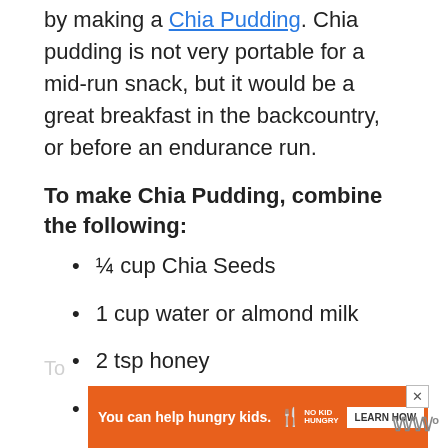by making a Chia Pudding. Chia pudding is not very portable for a mid-run snack, but it would be a great breakfast in the backcountry, or before an endurance run.
To make Chia Pudding, combine the following:
¼ cup Chia Seeds
1 cup water or almond milk
2 tsp honey
Dehydrated fruit of your choosing
Nuts such as almonds, walnuts, or cashews
[Figure (other): Advertisement banner: orange background with text 'You can help hungry kids.' and No Kid Hungry logo and 'Learn How' button, with a close button.]